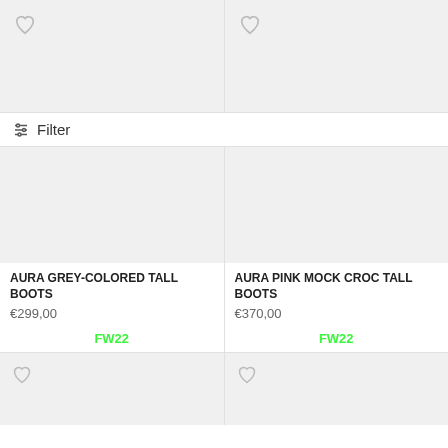[Figure (screenshot): Top product cards row showing two placeholder product images with heart/wishlist icons, grey backgrounds]
Filter
[Figure (photo): Left product card image placeholder - grey background for AURA GREY-COLORED TALL BOOTS]
AURA GREY-COLORED TALL BOOTS
€299,00
FW22
[Figure (photo): Right product card image placeholder - grey background for AURA PINK MOCK CROC TALL BOOTS]
AURA PINK MOCK CROC TALL BOOTS
€370,00
FW22
[Figure (photo): Bottom row two product card placeholder images with heart icons, grey backgrounds]